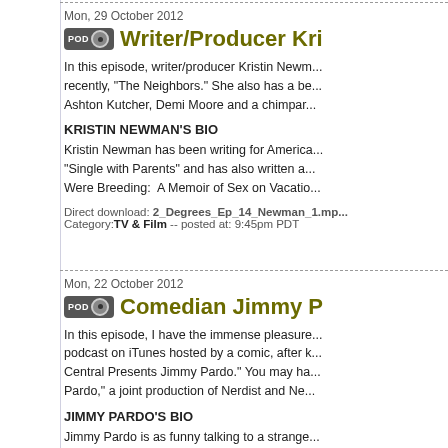Mon, 29 October 2012
Writer/Producer Kri...
In this episode, writer/producer Kristin Newman has worked on recently, "The Neighbors." She also has a be... Ashton Kutcher, Demi Moore and a chimpar...
KRISTIN NEWMAN'S BIO
Kristin Newman has been writing for America... "Single with Parents" and has also written a... Were Breeding: A Memoir of Sex on Vacatio...
Direct download: 2_Degrees_Ep_14_Newman_1.mp... Category: TV & Film -- posted at: 9:45pm PDT
Mon, 22 October 2012
Comedian Jimmy P...
In this episode, I have the immense pleasure... podcast on iTunes hosted by a comic, after k... Central Presents Jimmy Pardo." You may ha... Pardo," a joint production of Nerdist and Ne...
JIMMY PARDO'S BIO
Jimmy Pardo is as funny talking to a strange... he was even funnier offstage than he was o...